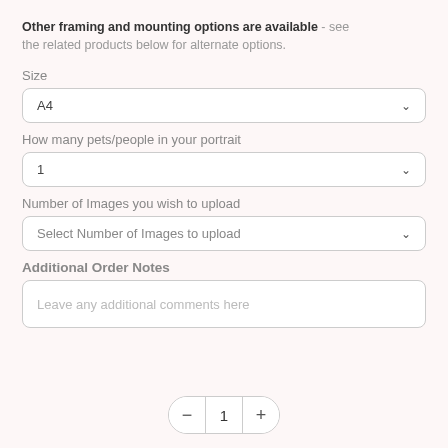Other framing and mounting options are available - see the related products below for alternate options.
Size
[Figure (screenshot): Dropdown selector showing 'A4' with chevron]
How many pets/people in your portrait
[Figure (screenshot): Dropdown selector showing '1' with chevron]
Number of Images you wish to upload
[Figure (screenshot): Dropdown selector showing 'Select Number of Images to upload' with chevron]
Additional Order Notes
[Figure (screenshot): Text area with placeholder 'Leave any additional comments here']
[Figure (screenshot): Quantity control showing minus button, 1, plus button]